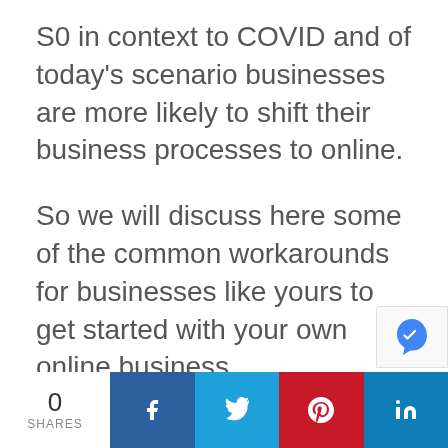S0 in context to COVID and of today's scenario businesses are more likely to shift their business processes to online.
So we will discuss here some of the common workarounds for businesses like yours to get started with your own online business.
The simple steps to starting an e-commerce business & sales are
0 SHARES | Share on Facebook | Share on Twitter | Share on Pinterest | Share on LinkedIn